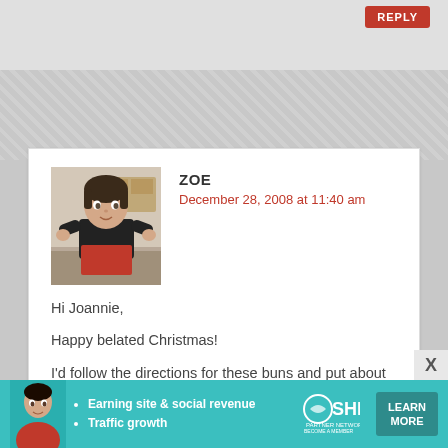REPLY
[Figure (photo): Avatar photo of Zoe, a woman in a black top and red skirt in a kitchen setting]
ZOE
December 28, 2008 at 11:40 am
Hi Joannie,
Happy belated Christmas!
I'd follow the directions for these buns and put about 8 of them equally spaced in the pan. You may even squeeze in 10. If you put more in the pan they will spread less and rise upward more. Bake them for about 20+- minutes or until the buns in the center are firm to the touch. If you want them to be soft then brush them with melted butter as
[Figure (infographic): SHE Partner Network advertisement banner with woman photo, bullet points about earning site & social revenue and traffic growth, SHE logo, and Learn More button]